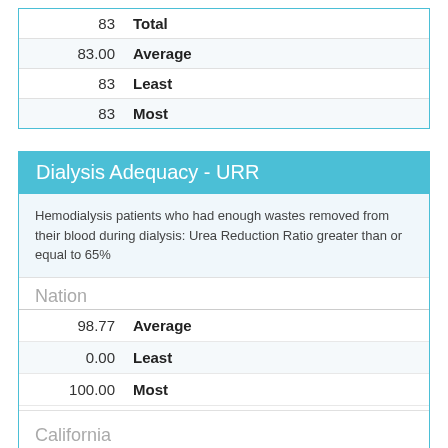| Value | Metric |
| --- | --- |
| 83 | Total |
| 83.00 | Average |
| 83 | Least |
| 83 | Most |
Dialysis Adequacy - URR
Hemodialysis patients who had enough wastes removed from their blood during dialysis: Urea Reduction Ratio greater than or equal to 65%
| Value | Metric |
| --- | --- |
| Nation |  |
| 98.77 | Average |
| 0.00 | Least |
| 100.00 | Most |
| California |  |
| 98.51 | Average |
| 73.00 | Least |